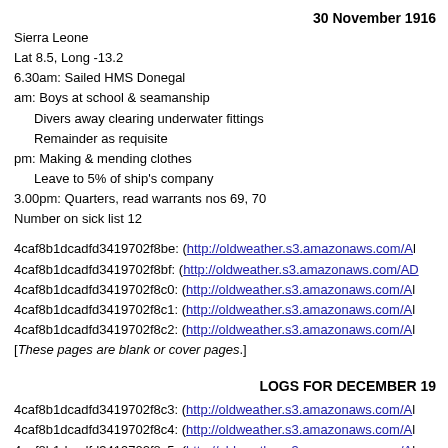30 November 1916
Sierra Leone
Lat 8.5, Long -13.2
6.30am: Sailed HMS Donegal
am: Boys at school & seamanship
  Divers away clearing underwater fittings
  Remainder as requisite
pm: Making & mending clothes
  Leave to 5% of ship's company
3.00pm: Quarters, read warrants nos 69, 70
Number on sick list 12
4caf8b1dcadfd3419702f8be: (http://oldweather.s3.amazonaws.com/A...
4caf8b1dcadfd3419702f8bf: (http://oldweather.s3.amazonaws.com/A...
4caf8b1dcadfd3419702f8c0: (http://oldweather.s3.amazonaws.com/A...
4caf8b1dcadfd3419702f8c1: (http://oldweather.s3.amazonaws.com/A...
4caf8b1dcadfd3419702f8c2: (http://oldweather.s3.amazonaws.com/A...
[These pages are blank or cover pages.]
LOGS FOR DECEMBER 19...
4caf8b1dcadfd3419702f8c3: (http://oldweather.s3.amazonaws.com/A...
4caf8b1dcadfd3419702f8c4: (http://oldweather.s3.amazonaws.com/A...
4caf8b1dcadfd3419702f8c5: (http://oldweather.s3.amazonaws.com/A...
[These pages are cover pages or blank.]
4caf8b1dcadfd3419702f8c6: (http://oldweather.s3.amazonaws.com/A...